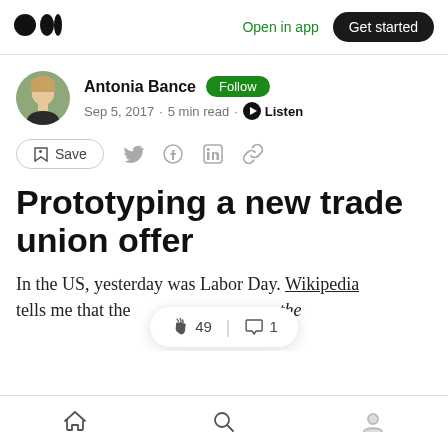Medium logo | Open in app | Get started
Antonia Bance · Follow · Sep 5, 2017 · 5 min read · Listen
Save (share icons: Twitter, Facebook, LinkedIn, link)
Prototyping a new trade union offer
In the US, yesterday was Labor Day. Wikipedia tells me that the [49 claps | 1 comment] honors the [...]
Home | Search | Profile (bottom nav icons)